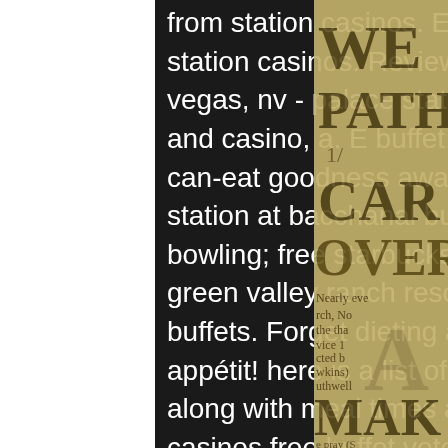from station casinos. Enjoy these dining offers at any of the station casinos. Reviews on palace station buffet in las vegas, nv - palace station feast buffet, palace station hotel and casino, a. E buffet, bacchanal buffet. A world of all-you-can-eat goodness awaits inside these casinos. The meat station at bacchanal buffet | louiie victa. ½ point bingo and bowling; free starbucks tall coffee; 15% off pizza rock at green valley ranch resort; ½ point dining at all cafes, buffets. Forget dieting and enjoy guilt-free meals. Bon appétit! here is a list of las vegas buffets currently open, along with meal times and las vegas buffet prices. Station casinos free buffet veterans. Unbelievaboat featuring an economy customisable per server, casino games, moderation, fun commands and much more. Its okay for free buffet food. I hardly took advantage of this perk because i ate elsewhere. David berman's buffet reviews. Feast buffet - green valley ranch